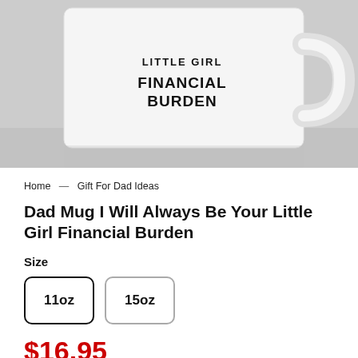[Figure (photo): White ceramic mug with text 'LITTLE GIRL FINANCIAL BURDEN' printed on it, shown against a light gray background]
Home — Gift For Dad Ideas
Dad Mug I Will Always Be Your Little Girl Financial Burden
Size
11oz   15oz
$16.95